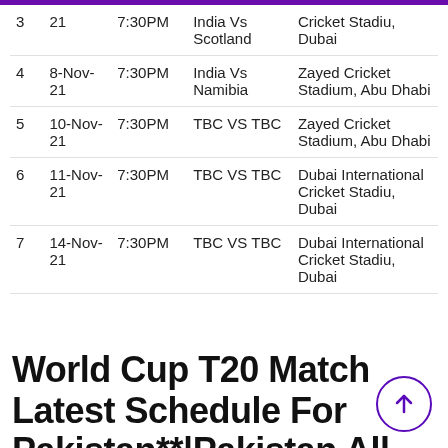| # | Date | Time | Match | Venue |
| --- | --- | --- | --- | --- |
| 3 | 21 | 7:30PM | India Vs Scotland | Cricket Stadiu, Dubai |
| 4 | 8-Nov-21 | 7:30PM | India Vs Namibia | Zayed Cricket Stadium, Abu Dhabi |
| 5 | 10-Nov-21 | 7:30PM | TBC VS TBC | Zayed Cricket Stadium, Abu Dhabi |
| 6 | 11-Nov-21 | 7:30PM | TBC VS TBC | Dubai International Cricket Stadiu, Dubai |
| 7 | 14-Nov-21 | 7:30PM | TBC VS TBC | Dubai International Cricket Stadiu, Dubai |
World Cup T20 Match Latest Schedule For Pakistan**|Pakistan All Match List 2021